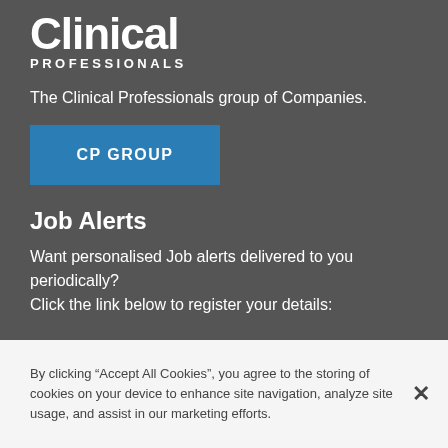[Figure (logo): Clinical Professionals logo with large bold 'Clinical' text and 'PROFESSIONALS' in spaced capitals below]
The Clinical Professionals group of Companies.
[Figure (other): Blue button labeled 'CP GROUP']
Job Alerts
Want personalised Job alerts delivered to you periodically? Click the link below to register your details:
By clicking “Accept All Cookies”, you agree to the storing of cookies on your device to enhance site navigation, analyze site usage, and assist in our marketing efforts.